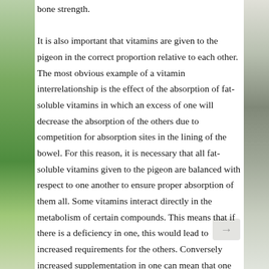bone strength.

It is also important that vitamins are given to the pigeon in the correct proportion relative to each other. The most obvious example of a vitamin interrelationship is the effect of the absorption of fat-soluble vitamins in which an excess of one will decrease the absorption of the others due to competition for absorption sites in the lining of the bowel. For this reason, it is necessary that all fat-soluble vitamins given to the pigeon are balanced with respect to one another to ensure proper absorption of them all. Some vitamins interact directly in the metabolism of certain compounds. This means that if there is a deficiency in one, this would lead to increased requirements for the others. Conversely increased supplementation in one can mean that one of the others is proportionately low and therefore deficient.